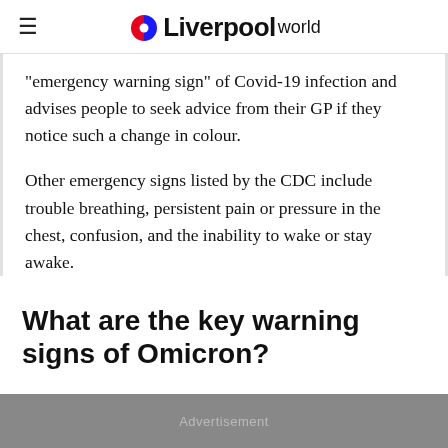Liverpool World
“emergency warning sign” of Covid-19 infection and advises people to seek advice from their GP if they notice such a change in colour.
Other emergency signs listed by the CDC include trouble breathing, persistent pain or pressure in the chest, confusion, and the inability to wake or stay awake.
What are the key warning signs of Omicron?
Advertisement